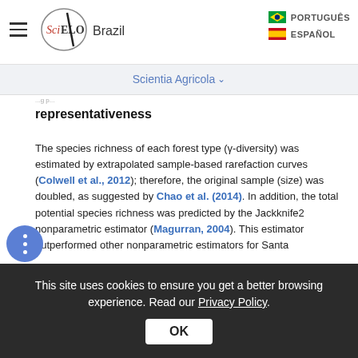SciELO Brazil — PORTUGUES | ESPANOL
representativeness
The species richness of each forest type (γ-diversity) was estimated by extrapolated sample-based rarefaction curves (Colwell et al., 2012); therefore, the original sample (size) was doubled, as suggested by Chao et al. (2014). In addition, the total potential species richness was predicted by the Jackknife2 nonparametric estimator (Magurran, 2004). This estimator outperformed other nonparametric estimators for Santa
This site uses cookies to ensure you get a better browsing experience. Read our Privacy Policy.